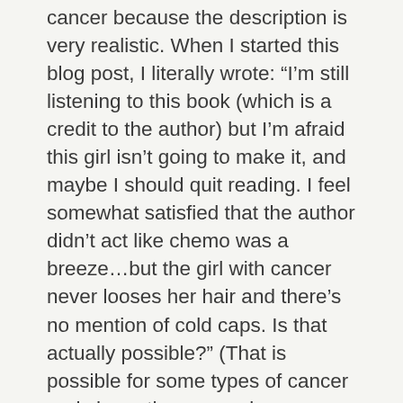cancer because the description is very realistic. When I started this blog post, I literally wrote: “I’m still listening to this book (which is a credit to the author) but I’m afraid this girl isn’t going to make it, and maybe I should quit reading. I feel somewhat satisfied that the author didn’t act like chemo was a breeze…but the girl with cancer never looses her hair and there’s no mention of cold caps. Is that actually possible?” (That is possible for some types of cancer and chemotherapy regimes apparently). Update: I DID finish the book. I was hopeful this would be an inspiring story where she beats the odds and the cancer. Nope. What’s worse, the girl’s widower husband MARRIES HER BEST FRIEND…. right after she passes away. Nuuuuuuurpe. I realize this isn’t the most